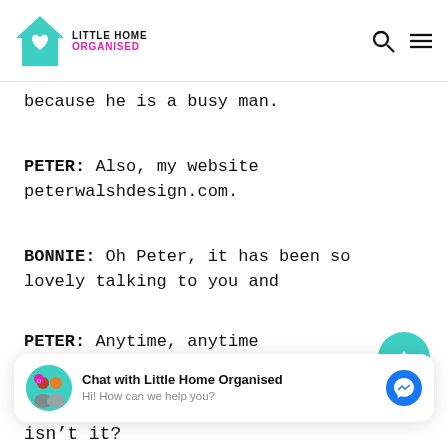LITTLE HOME ORGANISED
because he is a busy man.
PETER: Also, my website peterwalshdesign.com.
BONNIE: Oh Peter, it has been so lovely talking to you and
PETER: Anytime, anytime
[Figure (other): Chat widget: Chat with Little Home Organised - Hi! How can we help you?]
isn’t it?